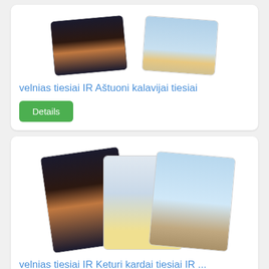[Figure (illustration): Two tarot cards shown: The Devil card (dark background with devil figure) on the left and Eight of Swords on the right]
velnias tiesiai IR Aštuoni kalavijai tiesiai
Details
[Figure (illustration): Three tarot cards shown: The Devil card on left, Four of Swords in middle, and Nine of Swords on right]
velnias tiesiai IR Keturi kardai tiesiai IR ...
Details